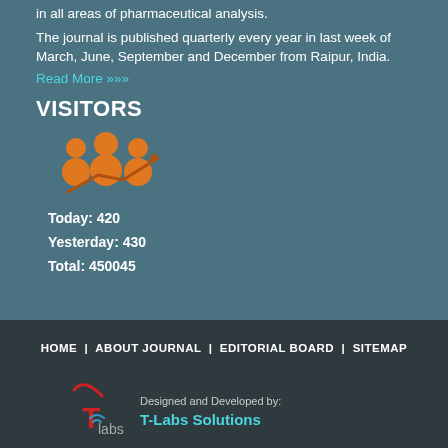in all areas of pharmaceutical analysis. The journal is published quarterly every year in last week of March, June, September and December from Raipur, India.
Read More >>>
VISITORS
[Figure (infographic): Orange icon of three people silhouettes with an upward trending arrow, representing visitor growth]
Today: 420
Yesterday: 430
Total: 450045
HOME  |  ABOUT JOURNAL  |  EDITORIAL BOARD  |  SITEMAP
Designed and Developed by: T-Labs Solutions